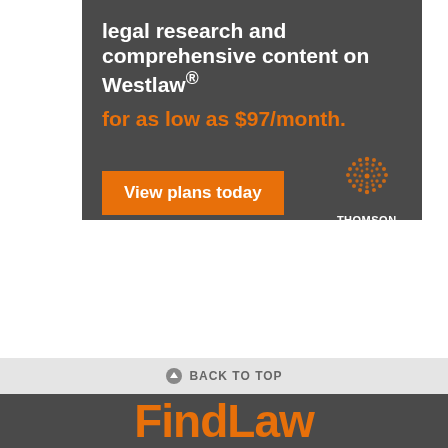[Figure (infographic): Thomson Reuters advertisement banner on dark gray background. Text: 'legal research and comprehensive content on Westlaw® for as low as $97/month.' with an orange 'View plans today' button and the Thomson Reuters dotted globe logo with brand name.]
BACK TO TOP
FindLaw